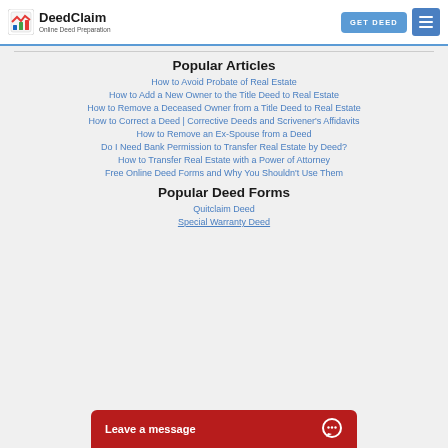DeedClaim — Online Deed Preparation
Popular Articles
How to Avoid Probate of Real Estate
How to Add a New Owner to the Title Deed to Real Estate
How to Remove a Deceased Owner from a Title Deed to Real Estate
How to Correct a Deed | Corrective Deeds and Scrivener's Affidavits
How to Remove an Ex-Spouse from a Deed
Do I Need Bank Permission to Transfer Real Estate by Deed?
How to Transfer Real Estate with a Power of Attorney
Free Online Deed Forms and Why You Shouldn't Use Them
Popular Deed Forms
Quitclaim Deed
Special Warranty Deed
Leave a message